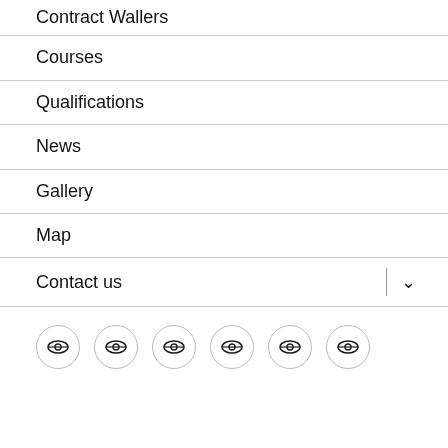Contract Wallers
Courses
Qualifications
News
Gallery
Map
Contact us
[Figure (other): Row of 6 social media icon circles with eye/link symbol]